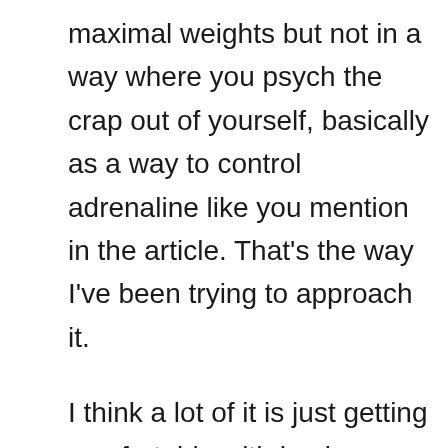maximal weights but not in a way where you psych the crap out of yourself, basically as a way to control adrenaline like you mention in the article. That's the way I've been trying to approach it.

I think a lot of it is just getting comfortable with having HEAVY weight on top of you all the time, whereas if you work up slowly with 5's or 10's over months and train